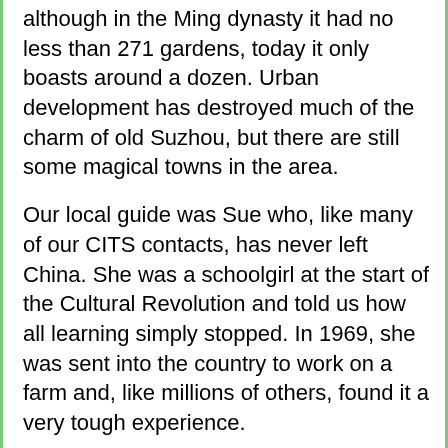although in the Ming dynasty it had no less than 271 gardens, today it only boasts around a dozen. Urban development has destroyed much of the charm of old Suzhou, but there are still some magical towns in the area.
Our local guide was Sue who, like many of our CITS contacts, has never left China. She was a schoolgirl at the start of the Cultural Revolution and told us how all learning simply stopped. In 1969, she was sent into the country to work on a farm and, like millions of others, found it a very tough experience.
On Friday morning, we visited two of Suzhou's gardens. The Garden of the Master of the Nets was originally created in 1140. The Garden of Lingering – probably the most beautiful in the city – was originally created in 1520. Two of the gardens that we did not visit had enchanting